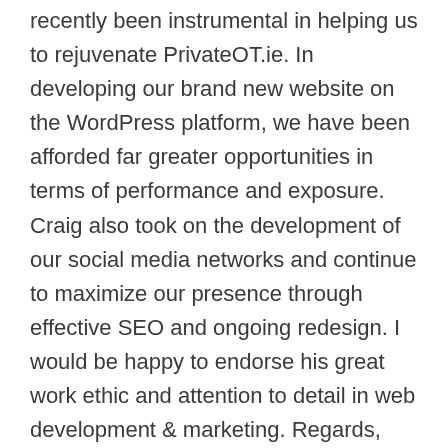recently been instrumental in helping us to rejuvenate PrivateOT.ie. In developing our brand new website on the WordPress platform, we have been afforded far greater opportunities in terms of performance and exposure. Craig also took on the development of our social media networks and continue to maximize our presence through effective SEO and ongoing redesign. I would be happy to endorse his great work ethic and attention to detail in web development & marketing. Regards, [/et_pb_slide][et_pb_slide heading="Ronan Menton Head Of Internet Strategy , Europcar Ireland" background_position="default" background_size="default"